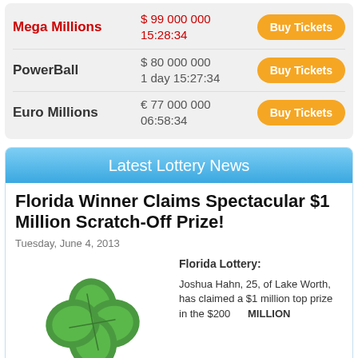| Lottery | Amount/Time | Action |
| --- | --- | --- |
| Mega Millions | $ 99 000 000
15:28:34 | Buy Tickets |
| PowerBall | $ 80 000 000
1 day 15:27:34 | Buy Tickets |
| Euro Millions | € 77 000 000
06:58:34 | Buy Tickets |
Latest Lottery News
Florida Winner Claims Spectacular $1 Million Scratch-Off Prize!
Tuesday, June 4, 2013
[Figure (illustration): Green four-leaf clover illustration]
Florida Lottery:
Joshua Hahn, 25, of Lake Worth, has claimed a $1 million top prize in the $200 MILLION